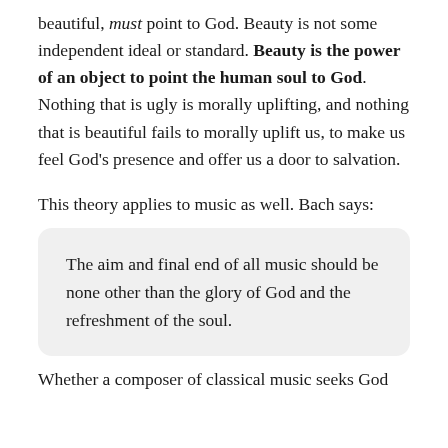beautiful, must point to God. Beauty is not some independent ideal or standard. Beauty is the power of an object to point the human soul to God. Nothing that is ugly is morally uplifting, and nothing that is beautiful fails to morally uplift us, to make us feel God’s presence and offer us a door to salvation.
This theory applies to music as well. Bach says:
The aim and final end of all music should be none other than the glory of God and the refreshment of the soul.
Whether a composer of classical music seeks God